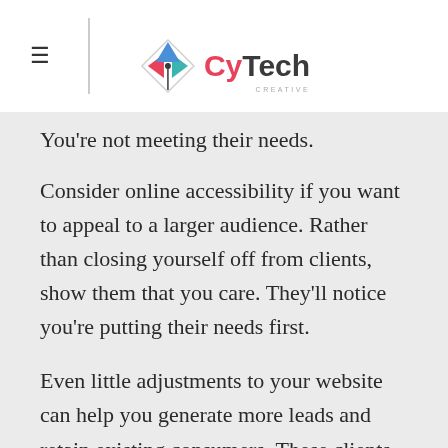CyTech Creative
You're not meeting their needs.
Consider online accessibility if you want to appeal to a larger audience. Rather than closing yourself off from clients, show them that you care. They'll notice you're putting their needs first.
Even little adjustments to your website can help you generate more leads and retain existing consumers. These clients may also help to spread the news about